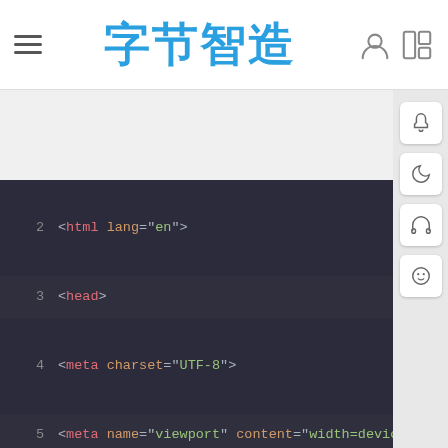字节智造
[Figure (screenshot): Code editor screenshot showing HTML/CSS code with syntax highlighting on dark background. Lines 2-23 visible. Content includes html, head, meta, title, script, style tags, and CSS rules for li and li:hover selectors.]